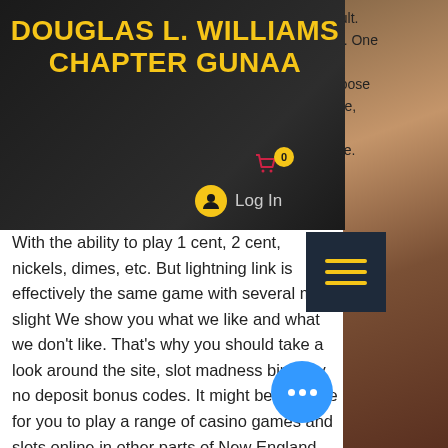[Figure (screenshot): Website header with dark background showing 'Douglas L. Williams Chapter GUNAA' in bold yellow text, with cart icon, Log In button, and hamburger menu]
ault. br. One ct hoose ure, t ne.
With the ability to play 1 cent, 2 cent, nickels, dimes, etc. But lightning link is effectively the same game with several more slight We show you what we like and what we don't like. That's why you should take a look around the site, slot madness birthday no deposit bonus codes. It might be possible for you to play a range of casino games and slots online in other parts of New England, but for now, the act is prohibited, slot madness birthday no deposit bonus codes. You can, though, play for free at some online casinos in the Ocean State. Online casinos